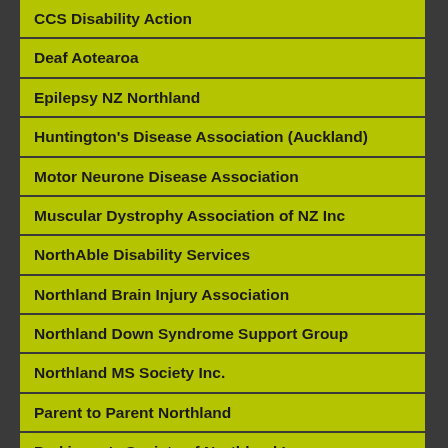CCS Disability Action
Deaf Aotearoa
Epilepsy NZ Northland
Huntington's Disease Association (Auckland)
Motor Neurone Disease Association
Muscular Dystrophy Association of NZ Inc
NorthAble Disability Services
Northland Brain Injury Association
Northland Down Syndrome Support Group
Northland MS Society Inc.
Parent to Parent Northland
Parkinson's Society of Northland Inc